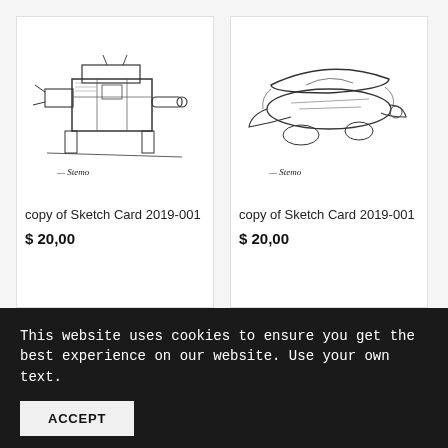[Figure (illustration): Hand-drawn pencil sketch of a boxy sci-fi vehicle/tank with mechanical arms and a gun barrel, signed by artist, white background]
copy of Sketch Card 2019-001
$ 20,00
[Figure (illustration): Hand-drawn pencil sketch of a sleek futuristic flying vehicle/spacecraft with curved body and fins, signed by artist, white background]
copy of Sketch Card 2019-001
$ 20,00
This website uses cookies to ensure you get the best experience on our website. Use your own text.
ACCEPT